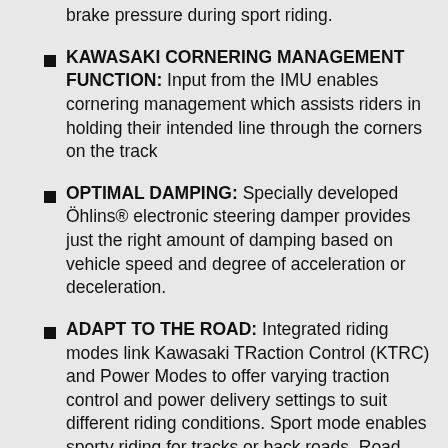brake pressure during sport riding.
KAWASAKI CORNERING MANAGEMENT FUNCTION: Input from the IMU enables cornering management which assists riders in holding their intended line through the corners on the track
OPTIMAL DAMPING: Specially developed Öhlins® electronic steering damper provides just the right amount of damping based on vehicle speed and degree of acceleration or deceleration.
ADAPT TO THE ROAD: Integrated riding modes link Kawasaki TRaction Control (KTRC) and Power Modes to offer varying traction control and power delivery settings to suit different riding conditions. Sport mode enables sporty riding for tracks or back roads. Road mode covers a wide range of typical riding situations. Rain mode delivers reassurance over wet road